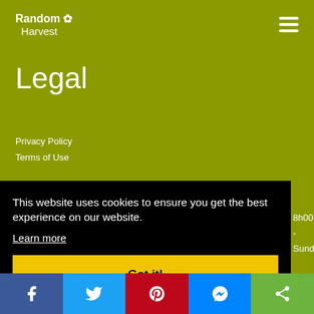Random Harvest
Legal
Privacy Policy
Terms of Use
This website uses cookies to ensure you get the best experience on our website.
Learn more
Got it!
8h00 -
Sunday,